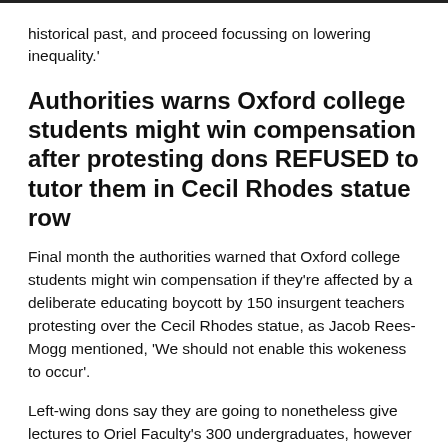historical past, and proceed focussing on lowering inequality.'
Authorities warns Oxford college students might win compensation after protesting dons REFUSED to tutor them in Cecil Rhodes statue row
Final month the authorities warned that Oxford college students might win compensation if they're affected by a deliberate educating boycott by 150 insurgent teachers protesting over the Cecil Rhodes statue, as Jacob Rees-Mogg mentioned, 'We should not enable this wokeness to occur'.
Left-wing dons say they are going to nonetheless give lectures to Oriel Faculty's 300 undergraduates, however also the responsibility for in-depth dialogue in small